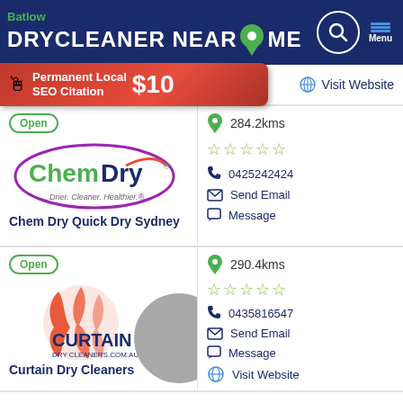Batlow DRYCLEANER NEAR ME
[Figure (infographic): Red ad banner: Permanent Local SEO Citation $10]
Dry Cleaners — Visit Website
Open — 284.2kms — 5 stars — 0425242424 — Send Email — Message
[Figure (logo): Chem Dry logo: ChemDry - Drier. Cleaner. Healthier.]
Chem Dry Quick Dry Sydney
Open — 290.4kms — 5 stars — 0435816547 — Send Email — Message — Visit Website
[Figure (logo): Curtain Dry Cleaners logo with red curtain graphic and text CURTAIN DRY CLEANERS.COM.AU]
Curtain Dry Cleaners